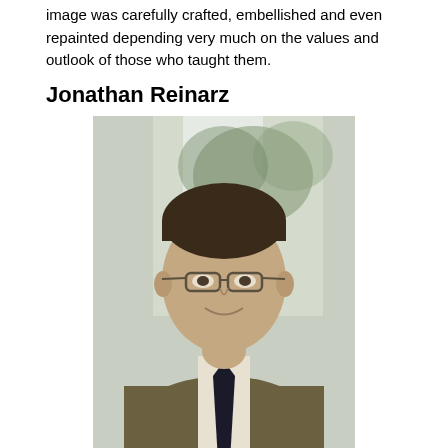image was carefully crafted, embellished and even repainted depending very much on the values and outlook of those who taught them.
Jonathan Reinarz
[Figure (photo): Portrait photo of Professor Jonathan Reinarz, a man wearing glasses and a dark tie, seated near a window with foliage visible outside.]
Professor Jonathan Reinarz, University of Birmingham
Professor Jonathan Reinarz is the Director of The History of Medicine Unit, University of Birmingham. He has published extensively on the history of hospitals and medical education, including a history of the Birmingham teaching hospitals (Boydell, 2009) and, with Graham Mooney (Johns Hopkins) a history of hospital and asylum visiting